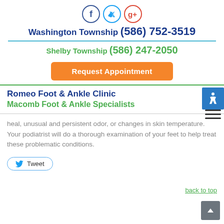[Figure (logo): Social media icons: Facebook (blue circle), Twitter (teal circle), Google Plus (red circle)]
Washington Township (586) 752-3519
Shelby Township (586) 247-2050
Request Appointment
Romeo Foot & Ankle Clinic
Macomb Foot & Ankle Specialists
heal, unusual and persistent odor, or changes in skin temperature. Your podiatrist will do a thorough examination of your feet to help treat these problematic conditions.
Tweet
back to top